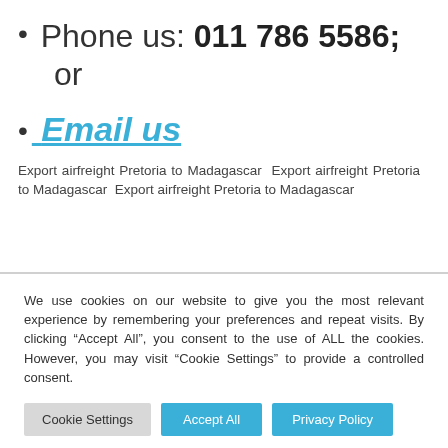Phone us: 011 786 5586; or
Email us
Export airfreight Pretoria to Madagascar  Export airfreight Pretoria to Madagascar  Export airfreight Pretoria to Madagascar
We use cookies on our website to give you the most relevant experience by remembering your preferences and repeat visits. By clicking “Accept All”, you consent to the use of ALL the cookies. However, you may visit “Cookie Settings” to provide a controlled consent.